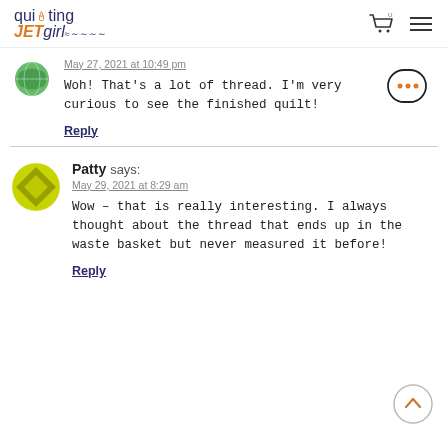quilting JETgirl
May 27, 2021 at 10:49 pm
Woh! That's a lot of thread. I'm very curious to see the finished quilt!
Reply
Patty says:
May 29, 2021 at 8:29 am
Wow – that is really interesting. I always thought about the thread that ends up in the waste basket but never measured it before!
Reply